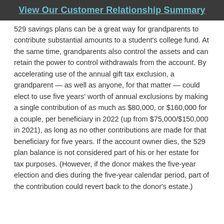View Our Customer Relationship Summary
529 savings plans can be a great way for grandparents to contribute substantial amounts to a student's college fund. At the same time, grandparents also control the assets and can retain the power to control withdrawals from the account. By accelerating use of the annual gift tax exclusion, a grandparent — as well as anyone, for that matter — could elect to use five years' worth of annual exclusions by making a single contribution of as much as $80,000, or $160,000 for a couple, per beneficiary in 2022 (up from $75,000/$150,000 in 2021), as long as no other contributions are made for that beneficiary for five years. If the account owner dies, the 529 plan balance is not considered part of his or her estate for tax purposes. (However, if the donor makes the five-year election and dies during the five-year calendar period, part of the contribution could revert back to the donor's estate.)